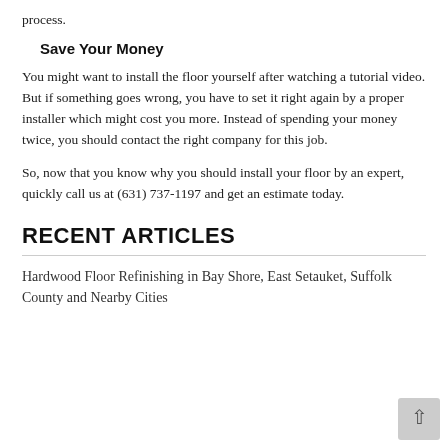process.
Save Your Money
You might want to install the floor yourself after watching a tutorial video. But if something goes wrong, you have to set it right again by a proper installer which might cost you more. Instead of spending your money twice, you should contact the right company for this job.
So, now that you know why you should install your floor by an expert, quickly call us at (631) 737-1197 and get an estimate today.
RECENT ARTICLES
Hardwood Floor Refinishing in Bay Shore, East Setauket, Suffolk County and Nearby Cities